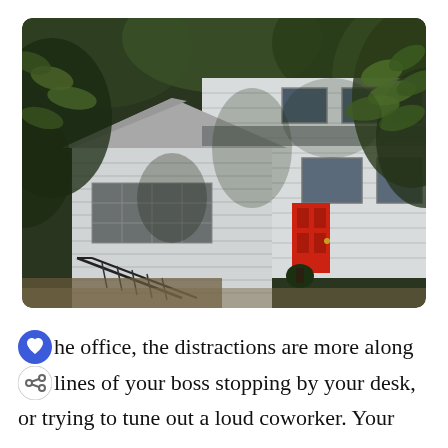[Figure (photo): Exterior photo of a white two-story house with a red front door, surrounded by green trees and foliage. Black metal stair railing visible on the left side.]
he office, the distractions are more along lines of your boss stopping by your desk, or trying to tune out a loud coworker. Your